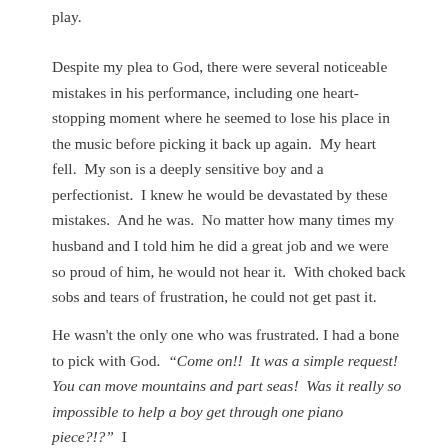play.
Despite my plea to God, there were several noticeable mistakes in his performance, including one heart-stopping moment where he seemed to lose his place in the music before picking it back up again.  My heart fell.  My son is a deeply sensitive boy and a perfectionist.  I knew he would be devastated by these mistakes.  And he was.  No matter how many times my husband and I told him he did a great job and we were so proud of him, he would not hear it.  With choked back sobs and tears of frustration, he could not get past it.
He wasn't the only one who was frustrated. I had a bone to pick with God.  “Come on!!  It was a simple request!  You can move mountains and part seas!  Was it really so impossible to help a boy get through one piano piece?!?”  I